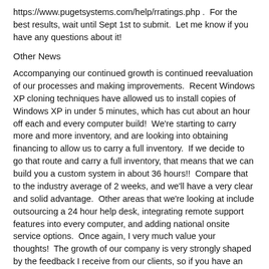https://www.pugetsystems.com/help/rratings.php .  For the best results, wait until Sept 1st to submit.  Let me know if you have any questions about it!
Other News
Accompanying our continued growth is continued reevaluation of our processes and making improvements.  Recent Windows XP cloning techniques have allowed us to install copies of Windows XP in under 5 minutes, which has cut about an hour off each and every computer build!  We're starting to carry more and more inventory, and are looking into obtaining financing to allow us to carry a full inventory.  If we decide to go that route and carry a full inventory, that means that we can build you a custom system in about 36 hours!!  Compare that to the industry average of 2 weeks, and we'll have a very clear and solid advantage.  Other areas that we're looking at include outsourcing a 24 hour help desk, integrating remote support features into every computer, and adding national onsite service options.  Once again, I very much value your thoughts!  The growth of our company is very strongly shaped by the feedback I receive from our clients, so if you have an opinion, I want to hear it!